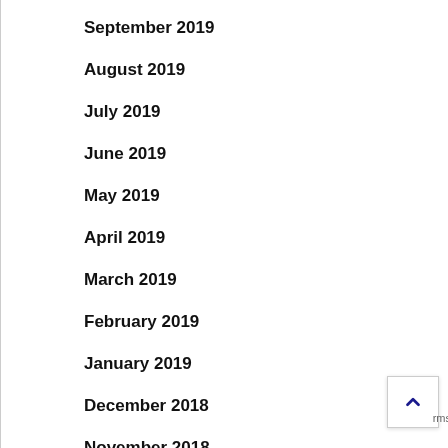September 2019
August 2019
July 2019
June 2019
May 2019
April 2019
March 2019
February 2019
January 2019
December 2018
November 2018
October 2018